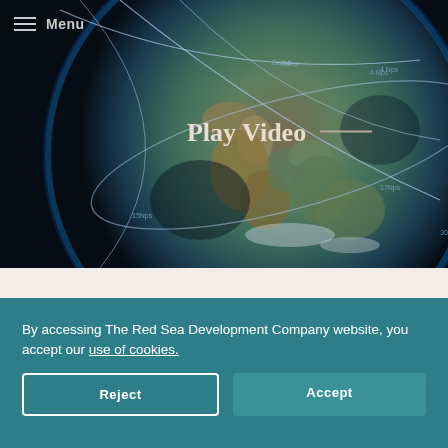[Figure (screenshot): Globe with satellite orbit lines overlaid, dark background, showing Africa and Middle East region from space. Part of a website hero section for The Red Sea Development Company.]
Menu
Play Video —
By accessing The Red Sea Development Company website, you accept our use of cookies.
Reject
Accept